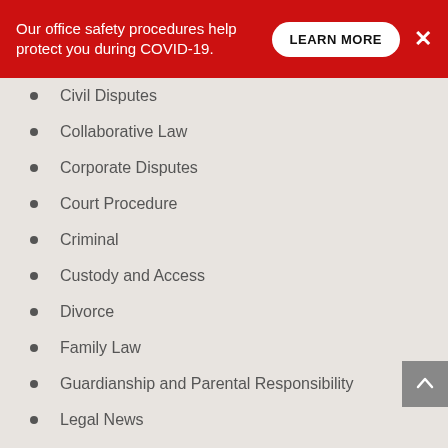Our office safety procedures help protect you during COVID-19. LEARN MORE ×
Civil Disputes
Collaborative Law
Corporate Disputes
Court Procedure
Criminal
Custody and Access
Divorce
Family Law
Guardianship and Parental Responsibility
Legal News
Living Together 101
Mediation and Arbitration
News